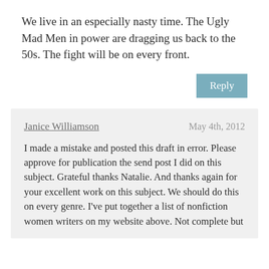We live in an especially nasty time. The Ugly Mad Men in power are dragging us back to the 50s. The fight will be on every front.
Reply
Janice Williamson   May 4th, 2012
I made a mistake and posted this draft in error. Please approve for publication the send post I did on this subject. Grateful thanks Natalie. And thanks again for your excellent work on this subject. We should do this on every genre. I've put together a list of nonfiction women writers on my website above. Not complete but